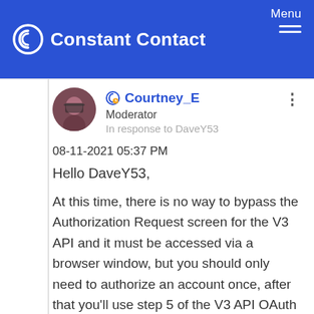Constant Contact | Menu
Courtney_E
Moderator
In response to DaveY53
08-11-2021 05:37 PM
Hello DaveY53,
At this time, there is no way to bypass the Authorization Request screen for the V3 API and it must be accessed via a browser window, but you should only need to authorize an account once, after that you'll use step 5 of the V3 API OAuth Server Flow to get a new set of tokens to maintain an authenticated